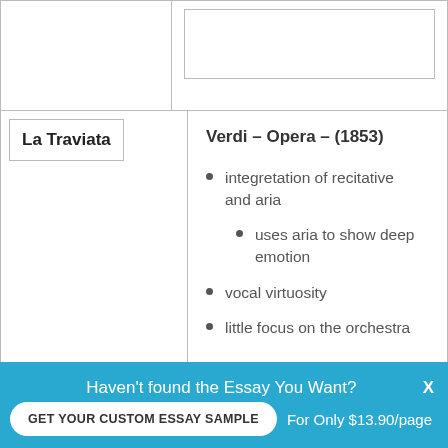|  |  |
| La Traviata | Verdi – Opera – (1853)
• integretation of recitative and aria
  • uses aria to show deep emotion
• vocal virtuosity
• little focus on the orchestra |
Haven't found the Essay You Want?
GET YOUR CUSTOM ESSAY SAMPLE
For Only $13.90/page